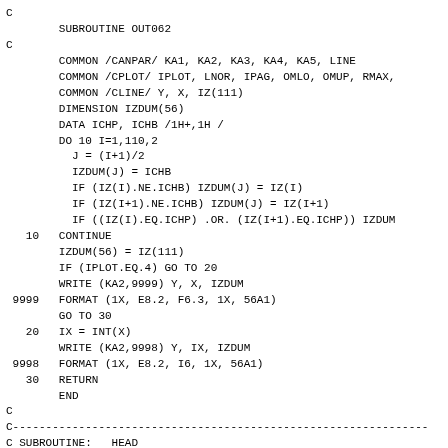C
        SUBROUTINE OUT062
C
        COMMON /CANPAR/ KA1, KA2, KA3, KA4, KA5, LINE
        COMMON /CPLOT/ IPLOT, LNOR, IPAG, OMLO, OMUP, RMAX,
        COMMON /CLINE/ Y, X, IZ(111)
        DIMENSION IZDUM(56)
        DATA ICHP, ICHB /1H+,1H /
        DO 10 I=1,110,2
          J = (I+1)/2
          IZDUM(J) = ICHB
          IF (IZ(I).NE.ICHB) IZDUM(J) = IZ(I)
          IF (IZ(I+1).NE.ICHB) IZDUM(J) = IZ(I+1)
          IF ((IZ(I).EQ.ICHP) .OR. (IZ(I+1).EQ.ICHP)) IZDUM
   10   CONTINUE
        IZDUM(56) = IZ(111)
        IF (IPLOT.EQ.4) GO TO 20
        WRITE (KA2,9999) Y, X, IZDUM
 9999   FORMAT (1X, E8.2, F6.3, 1X, 56A1)
        GO TO 30
   20   IX = INT(X)
        WRITE (KA2,9998) Y, IX, IZDUM
 9998   FORMAT (1X, E8.2, I6, 1X, 56A1)
   30   RETURN
        END
C
C---------------------------------------------------------------
C SUBROUTINE:   HEAD
C OUTPUT OF A HEAD LINE
C---------------------------------------------------------------